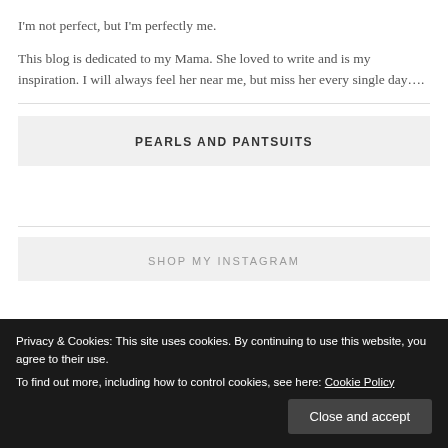I'm not perfect, but I'm perfectly me.
This blog is dedicated to my Mama. She loved to write and is my inspiration. I will always feel her near me, but miss her every single day….
PEARLS AND PANTSUITS
SHOP MY INSTAGRAM
Privacy & Cookies: This site uses cookies. By continuing to use this website, you agree to their use.
To find out more, including how to control cookies, see here: Cookie Policy